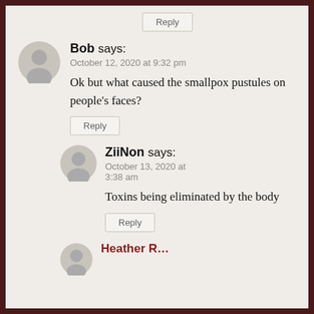Reply
Bob says:
October 12, 2020 at 9:32 pm
Ok but what caused the smallpox pustules on people's faces?
Reply
ZiiNon says:
October 13, 2020 at 3:38 am
Toxins being eliminated by the body
Reply
Heather R...